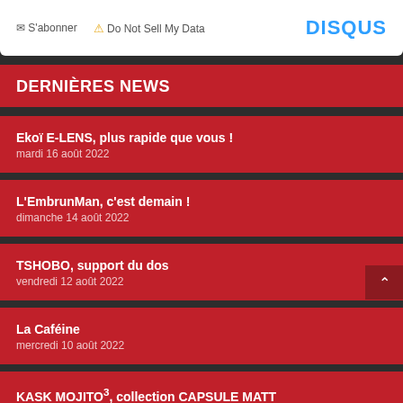S'abonner · Do Not Sell My Data · DISQUS
DERNIÈRES NEWS
Ekoï E-LENS, plus rapide que vous !
mardi 16 août 2022
L'EmbrunMan, c'est demain !
dimanche 14 août 2022
TSHOBO, support du dos
vendredi 12 août 2022
La Caféine
mercredi 10 août 2022
KASK MOJITO³, collection CAPSULE MATT
lundi 8 août 2022